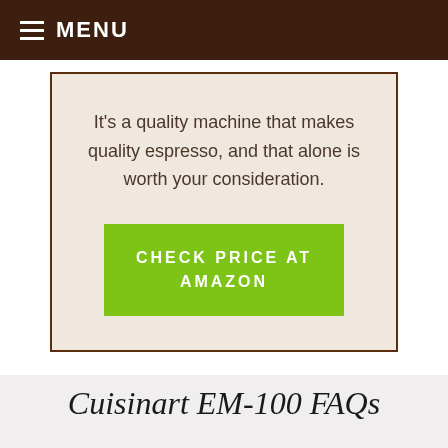MENU
It's a quality machine that makes quality espresso, and that alone is worth your consideration.
CHECK PRICE AT AMAZON
Cuisinart EM-100 FAQs